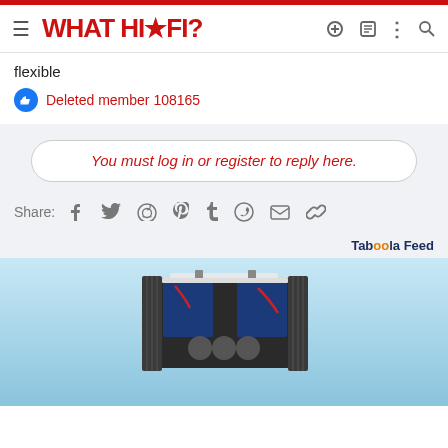WHAT HI·FI?
flexible
Deleted member 108165
You must log in or register to reply here.
Share:
Taboola Feed
[Figure (photo): Interior view of a hi-fi amplifier showing circuit boards, capacitors, and heat sinks against a light blue background]